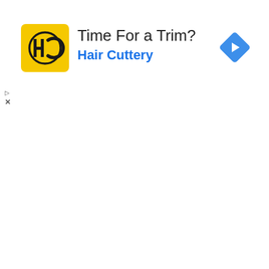[Figure (screenshot): Advertisement banner for Hair Cuttery with yellow HC logo, text 'Time For a Trim?' and 'Hair Cuttery' in blue, and a blue diamond navigation icon on the right]
Best Monitor Under $200 You Can Get For 2021. Reviews And Comparison